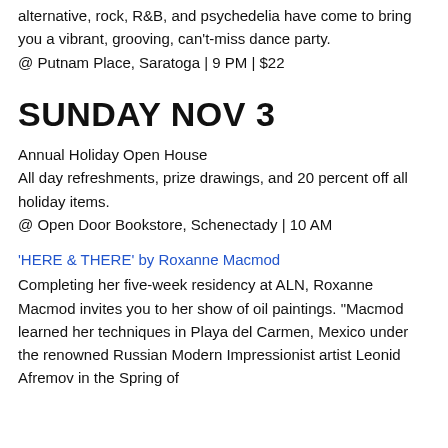alternative, rock, R&B, and psychedelia have come to bring you a vibrant, grooving, can't-miss dance party. @ Putnam Place, Saratoga | 9 PM | $22
SUNDAY NOV 3
Annual Holiday Open House
All day refreshments, prize drawings, and 20 percent off all holiday items.
@ Open Door Bookstore, Schenectady | 10 AM
'HERE & THERE' by Roxanne Macmod
Completing her five-week residency at ALN, Roxanne Macmod invites you to her show of oil paintings. "Macmod learned her techniques in Playa del Carmen, Mexico under the renowned Russian Modern Impressionist artist Leonid Afremov in the Spring of